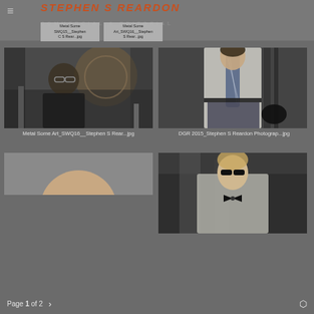STEPHEN S REARDON
Metal Some SMQ15__Stephen C S Rear...jpg | Metal Some Art_SWQ16__Stephen S Rear...jpg
[Figure (photo): Man with glasses in dark t-shirt in a workshop/metalworking environment with industrial equipment]
Metal Some Art_SWQ16__Stephen S Rear...jpg
[Figure (photo): Man in white dress shirt with striped tie and dark trousers holding a motorcycle helmet, standing in front of gym equipment]
DGR 2015_Stephen S Reardon Photograp...jpg
[Figure (photo): Partially visible photo showing a man's face from nose down with facial stubble]
[Figure (photo): Man in grey suit with bow tie and sunglasses]
Page 1 of 2